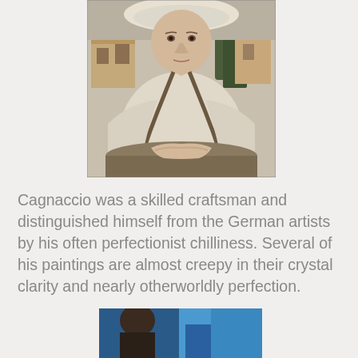[Figure (illustration): A painting in the style of New Objectivity showing a woman with arms crossed, wearing a white garment with dark trim, seated before a landscape with buildings and trees.]
Cagnaccio was a skilled craftsman and distinguished himself from the German artists by his often perfectionist chilliness. Several of his paintings are almost creepy in their crystal clarity and nearly otherworldly perfection.
[Figure (photo): Partial view of a photograph showing figures against a blue background, cropped at the bottom of the page.]